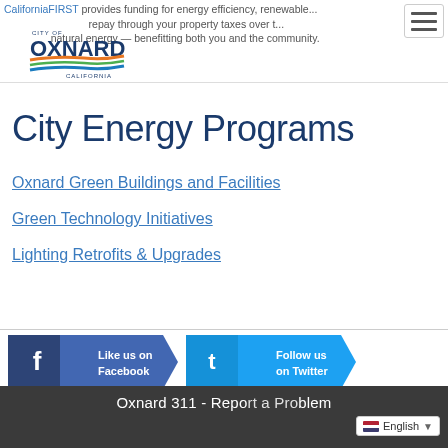CaliforniaFIRST provides funding for energy efficiency, renewable... repay through your property taxes over t... natural energy — benefitting both you and the community.
[Figure (logo): City of Oxnard, California logo with stylized wave graphic in orange, green and blue]
City Energy Programs
Oxnard Green Buildings and Facilities
Green Technology Initiatives
Lighting Retrofits & Upgrades
[Figure (screenshot): Facebook 'Like us on Facebook' social button with arrow shape]
[Figure (screenshot): Twitter 'Follow us on Twitter' social button with arrow shape]
Oxnard 311 - Report a Problem